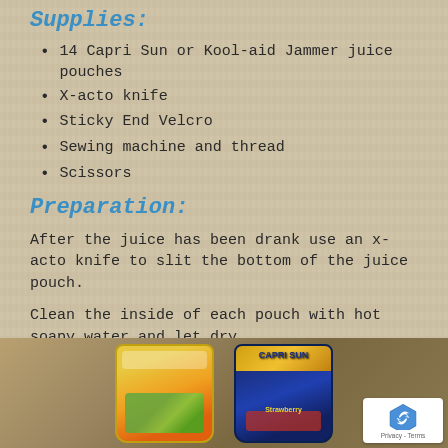Supplies:
14 Capri Sun or Kool-aid Jammer juice pouches
X-acto knife
Sticky End Velcro
Sewing machine and thread
Scissors
Preparation:
After the juice has been drank use an x-acto knife to slit the bottom of the juice pouch.
Clean the inside of each pouch with hot soapy water and let dry.
[Figure (photo): Two juice pouches side by side on a table — one appears to be a Kool-Aid Jammer with colorful fruit graphics, and the other is a Capri Sun Strawberry pouch with its distinctive silver/blue packaging. A reCAPTCHA Privacy-Terms badge is visible in the lower right corner.]